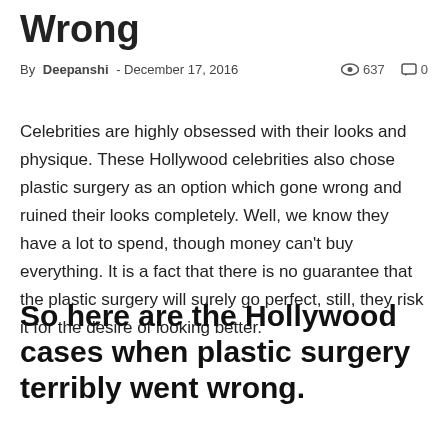Wrong
By Deepanshi - December 17, 2016   👁 637   💬 0
Celebrities are highly obsessed with their looks and physique. These Hollywood celebrities also chose plastic surgery as an option which gone wrong and ruined their looks completely. Well, we know they have a lot to spend, though money can't buy everything. It is a fact that there is no guarantee that the plastic surgery will surely go perfect, still, they risk it for the desire of looking better.
So here are the Hollywood cases when plastic surgery terribly went wrong.